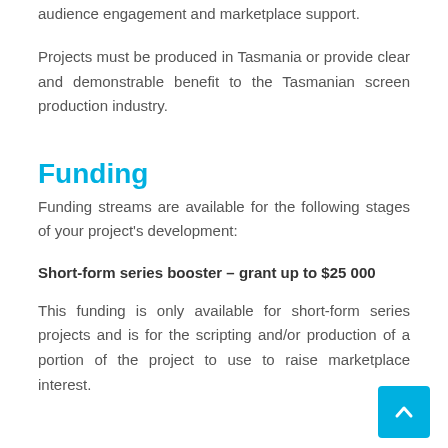audience engagement and marketplace support.
Projects must be produced in Tasmania or provide clear and demonstrable benefit to the Tasmanian screen production industry.
Funding
Funding streams are available for the following stages of your project's development:
Short-form series booster – grant up to $25 000
This funding is only available for short-form series projects and is for the scripting and/or production of a portion of the project to use to raise marketplace interest.